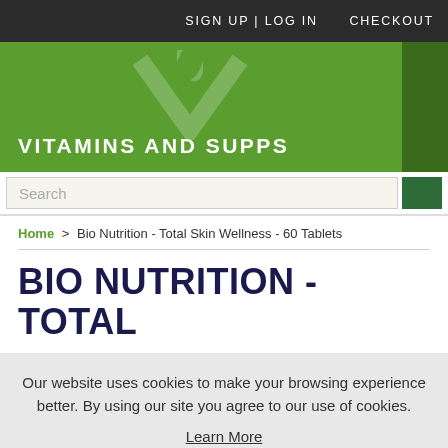SIGN UP | LOG IN    CHECKOUT
[Figure (logo): Vitamins and Supps logo with green background and V checkmark watermark]
Search
Home > Bio Nutrition - Total Skin Wellness - 60 Tablets
BIO NUTRITION - TOTAL
Our website uses cookies to make your browsing experience better. By using our site you agree to our use of cookies.
Learn More
I Agree